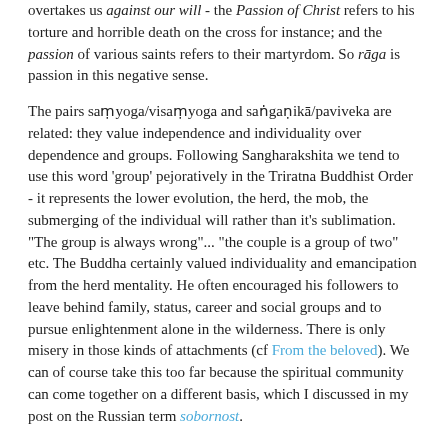overtakes us against our will - the Passion of Christ refers to his torture and horrible death on the cross for instance; and the passion of various saints refers to their martyrdom. So rāga is passion in this negative sense.
The pairs saṃyoga/visaṃyoga and saṅgaṇikā/paviveka are related: they value independence and individuality over dependence and groups. Following Sangharakshita we tend to use this word 'group' pejoratively in the Triratna Buddhist Order - it represents the lower evolution, the herd, the mob, the submerging of the individual will rather than it's sublimation. "The group is always wrong"... "the couple is a group of two" etc. The Buddha certainly valued individuality and emancipation from the herd mentality. He often encouraged his followers to leave behind family, status, career and social groups and to pursue enlightenment alone in the wilderness. There is only misery in those kinds of attachments (cf From the beloved). We can of course take this too far because the spiritual community can come together on a different basis, which I discussed in my post on the Russian term sobornost.